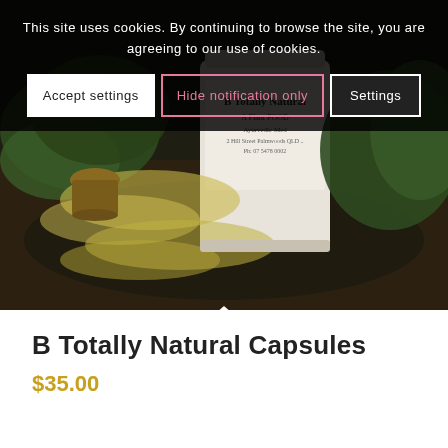This site uses cookies. By continuing to browse the site, you are agreeing to our use of cookies.
Accept settings
Hide notification only
Settings
[Figure (photo): Product photo of a white jar labeled 'B Totally Natural - A Plant FOOD - Ayurvedic Med' surrounded by green herbs and yellow flowers on a dark surface, with a small brass pot.]
B Totally Natural Capsules
$35.00